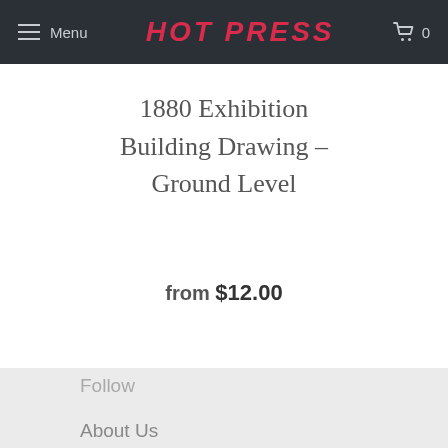Menu  HOT PRESS  0
1880 Exhibition Building Drawing - Ground Level
from $12.00
Follow
About Us
Contact Us
Paper Sizes
Paper Types
Search